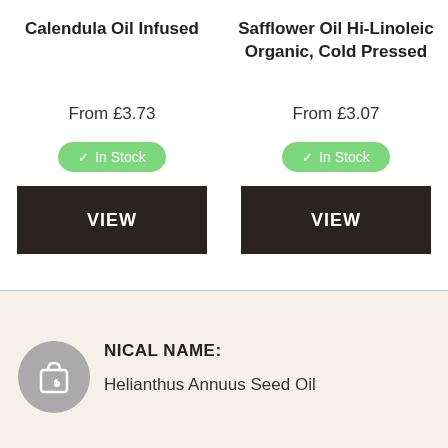Calendula Oil Infused
From £3.73
✓ In Stock
VIEW
Safflower Oil Hi-Linoleic Organic, Cold Pressed
From £3.07
✓ In Stock
VIEW
NICAL NAME:
Helianthus Annuus Seed Oil